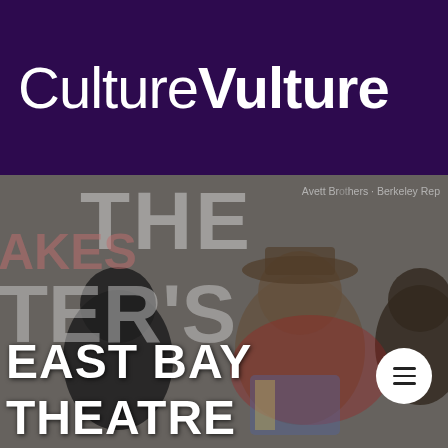CultureVulture
[Figure (photo): Website screenshot showing CultureVulture logo on dark purple header banner above a collage image featuring text fragments 'THE', 'AKES', 'TER'S', 'EAST BAY', 'THEATRE', with faces of people overlaid, Avett Brothers Berkeley Rep label, and a hamburger menu button]
Avett Brothers · Berkeley Rep